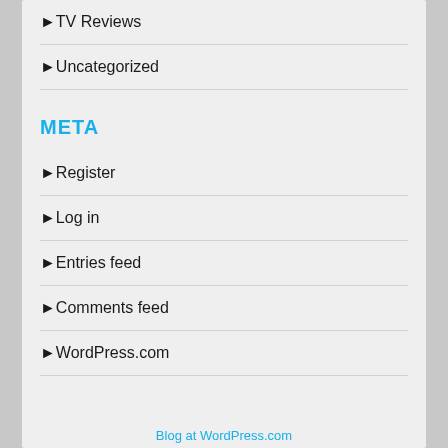TV Reviews
Uncategorized
META
Register
Log in
Entries feed
Comments feed
WordPress.com
Blog at WordPress.com